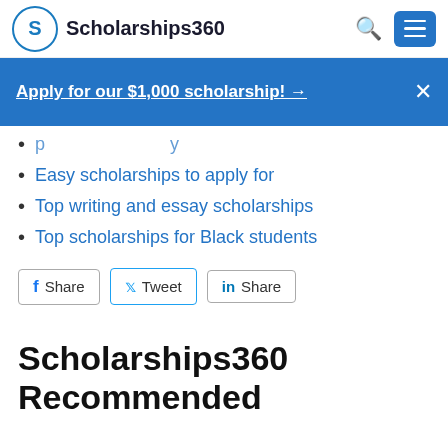Scholarships360
Apply for our $1,000 scholarship! →
Easy scholarships to apply for
Top writing and essay scholarships
Top scholarships for Black students
Share   Tweet   Share
Scholarships360 Recommended